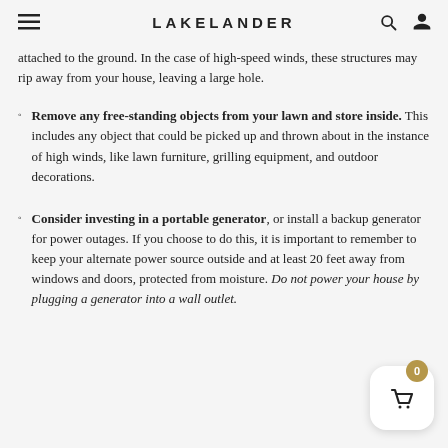LAKELANDER
attached to the ground. In the case of high-speed winds, these structures may rip away from your house, leaving a large hole.
Remove any free-standing objects from your lawn and store inside. This includes any object that could be picked up and thrown about in the instance of high winds, like lawn furniture, grilling equipment, and outdoor decorations.
Consider investing in a portable generator, or install a backup generator for power outages. If you choose to do this, it is important to remember to keep your alternate power source outside and at least 20 feet away from windows and doors, protected from moisture. Do not power your house by plugging a generator into a wall outlet.